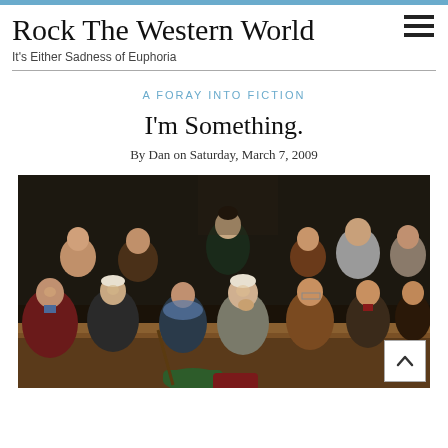Rock The Western World
It's Either Sadness of Euphoria
A FORAY INTO FICTION
I'm Something.
By Dan on Saturday, March 7, 2009
[Figure (photo): Classical oil painting showing a group of men seated in what appears to be a courtroom jury box or theatre, with varied expressions of contemplation, boredom, and engagement.]